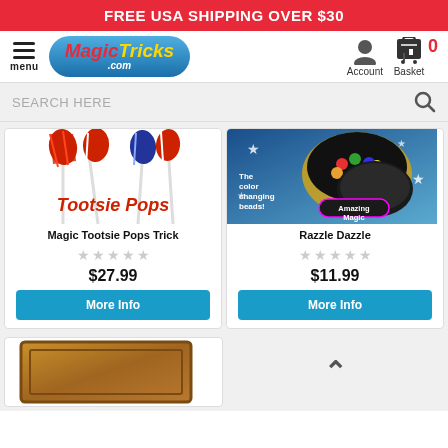FREE USA SHIPPING OVER $30
[Figure (logo): MagicTricks.com logo in blue oval with red Magic and yellow Tricks text]
SEARCH HERE
[Figure (photo): Magic Tootsie Pops Trick product image showing colorful lollipops with Tootsie Pops text]
Magic Tootsie Pops Trick
$27.99
More Info
[Figure (photo): Razzle Dazzle product image showing color changing beads in a tin on blue background with Amazing Magic label]
Razzle Dazzle
$11.99
More Info
[Figure (photo): Wooden frame/board magic prop partially visible at bottom of page]